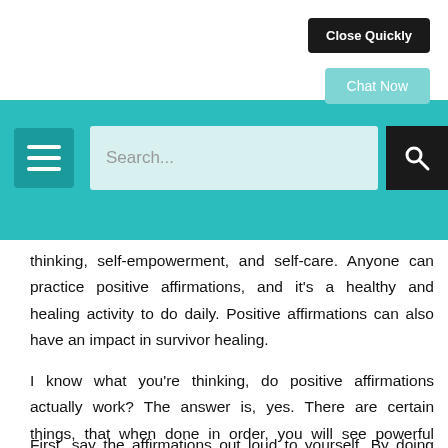Close Quickly
Chat Now
[Figure (screenshot): Website navigation bar with teal background, hamburger menu icon, search bar, and search button]
thinking, self-empowerment, and self-care. Anyone can practice positive affirmations, and it’s a healthy and healing activity to do daily. Positive affirmations can also have an impact in survivor healing.
I know what you’re thinking, do positive affirmations actually work? The answer is, yes. There are certain things, that when done in order, you will see powerful results.
First, say the affirmations out loud to yourself. By doing this, you’re actually hearing yourself say the words, rather than reading them, and hearing them out loud helps to reinforce the power the affirmations hold. Take the time to sit down